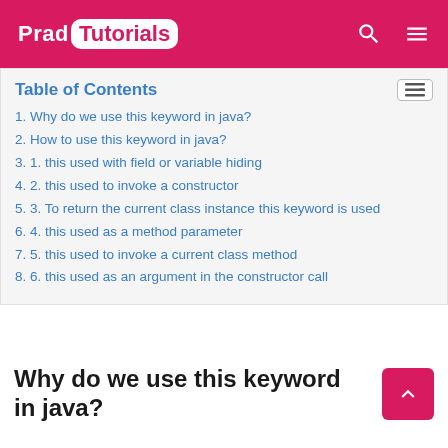Prad Tutorials
Table of Contents
1. Why do we use this keyword in java?
2. How to use this keyword in java?
3. 1. this used with field or variable hiding
4. 2. this used to invoke a constructor
5. 3. To return the current class instance this keyword is used
6. 4. this used as a method parameter
7. 5. this used to invoke a current class method
8. 6. this used as an argument in the constructor call
Why do we use this keyword in java?